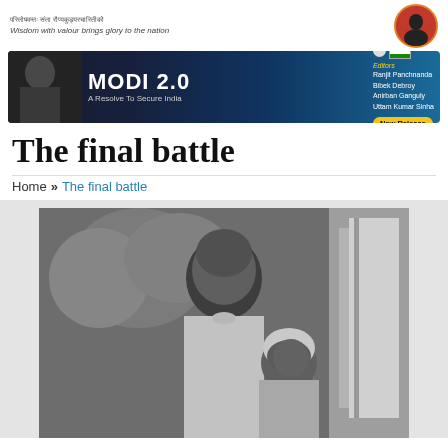Wisdom with valour brings glory to the nation
[Figure (photo): Advertisement banner for book 'MODI 2.0 – A Resolve To Secure India'. Editors: Ranjit Panchnanda, Bibek Debroy, Anirban Ganguly, Uttam Kumar Sinha. New Release label.]
The final battle
Home » The final battle
[Figure (photo): Black and white photograph of a bald man in white kurta standing next to an elderly woman in a white headscarf, both smiling slightly.]